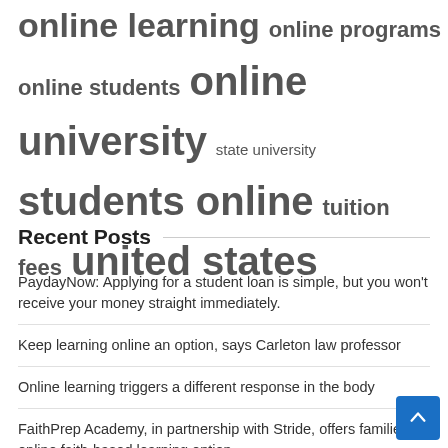online learning  online programs  online students  online university  state university  students online  tuition fees  united states
Recent Posts
PaydayNow: Applying for a student loan is simple, but you won't receive your money straight immediately.
Keep learning online an option, says Carleton law professor
Online learning triggers a different response in the body
FaithPrep Academy, in partnership with Stride, offers families an online faith-based learning option
Online study names Chester most beautiful city in the world Prolific North
TECH Online University enhances Harvard's educational offering with